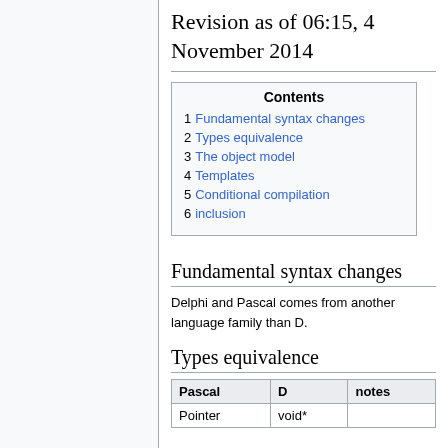Revision as of 06:15, 4 November 2014
|  | Contents |
| --- | --- |
| 1 | Fundamental syntax changes |
| 2 | Types equivalence |
| 3 | The object model |
| 4 | Templates |
| 5 | Conditional compilation |
| 6 | inclusion |
Fundamental syntax changes
Delphi and Pascal comes from another language family than D.
Types equivalence
| Pascal | D | notes |
| --- | --- | --- |
| Pointer | void* |  |